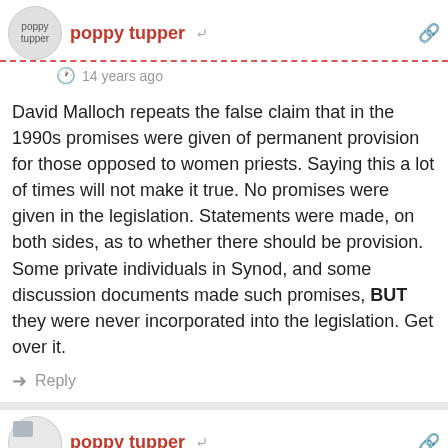poppy tupper
14 years ago
David Malloch repeats the false claim that in the 1990s promises were given of permanent provision for those opposed to women priests. Saying this a lot of times will not make it true. No promises were given in the legislation. Statements were made, on both sides, as to whether there should be provision. Some private individuals in Synod, and some discussion documents made such promises, BUT they were never incorporated into the legislation. Get over it.
Reply
poppy tupper
42  14 years ago
I may have missed a name, but as far as i can see, none of the bishops here sits in the house of lords, or is ever likely to. i